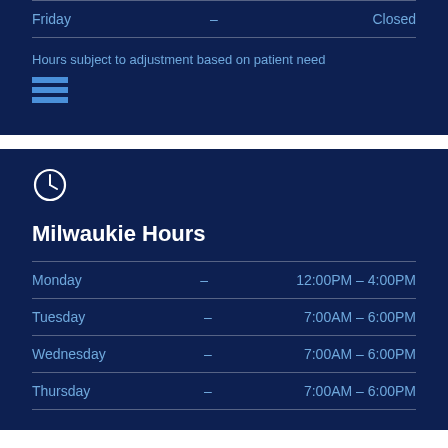| Day |  | Hours |
| --- | --- | --- |
| Friday | – | Closed |
Hours subject to adjustment based on patient need
Milwaukie Hours
| Day |  | Hours |
| --- | --- | --- |
| Monday | – | 12:00PM – 4:00PM |
| Tuesday | – | 7:00AM – 6:00PM |
| Wednesday | – | 7:00AM – 6:00PM |
| Thursday | – | 7:00AM – 6:00PM |